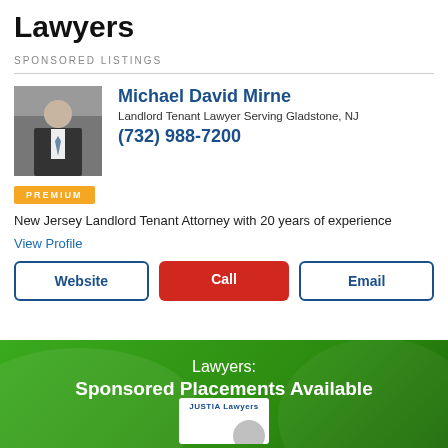Lawyers
SPONSORED LISTINGS
Michael David Mirne
Landlord Tenant Lawyer Serving Gladstone, NJ
(732) 988-7200
PREMIUM
New Jersey Landlord Tenant Attorney with 20 years of experience
View Profile
Website | Call | Email
Lawyers:
Sponsored Placements Available